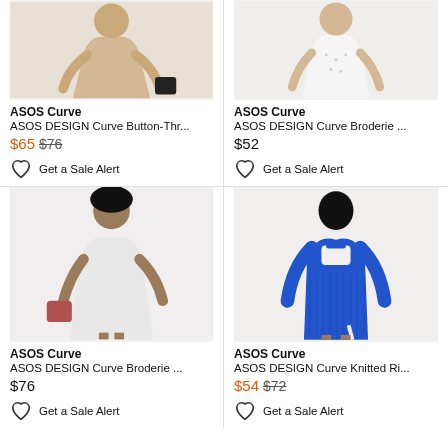[Figure (photo): Top portion of model wearing beige/tan midi dress with handbag, cropped]
ASOS Curve
ASOS DESIGN Curve Button-Thr...
$65 $76
Get a Sale Alert
[Figure (photo): Top portion of model wearing white broderie dress, cropped]
ASOS Curve
ASOS DESIGN Curve Broderie ...
$52
Get a Sale Alert
[Figure (photo): Model wearing white/grey broderie midi dress with pink bag]
ASOS Curve
ASOS DESIGN Curve Broderie ...
$76
Get a Sale Alert
[Figure (photo): Model from behind wearing royal blue knitted ribbed midi dress with cutout back]
ASOS Curve
ASOS DESIGN Curve Knitted Ri...
$54 $72
Get a Sale Alert